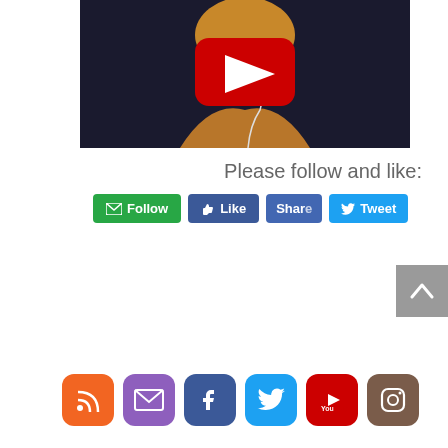[Figure (screenshot): YouTube video thumbnail showing a woman with blonde hair and glasses wearing earbuds and a tan/orange top, with a YouTube play button overlay in the center]
Please follow and like:
[Figure (infographic): Row of social media action buttons: green Follow button with envelope icon, blue Like button with thumbs up icon, blue Share button, and blue Tweet button with Twitter bird icon]
[Figure (infographic): Row of social media icon buttons: orange RSS feed, purple email/envelope, blue Facebook, light blue Twitter, red YouTube, and brown Instagram icons]